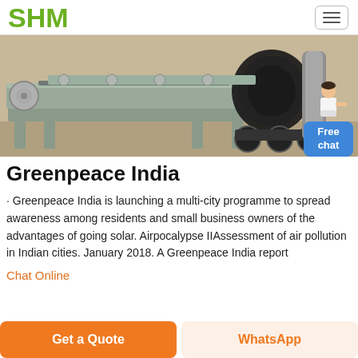SHM
[Figure (photo): Industrial machinery on a factory floor — a metal conveyor/roller machine with grey steel frame, black rubber roller, chains, and track wheels]
Greenpeace India
· Greenpeace India is launching a multi-city programme to spread awareness among residents and small business owners of the advantages of going solar. Airpocalypse IIAssessment of air pollution in Indian cities. January 2018. A Greenpeace India report
Chat Online
Get a Quote | WhatsApp